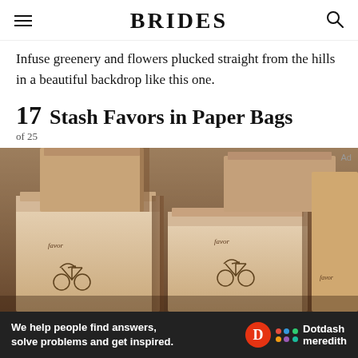BRIDES
Infuse greenery and flowers plucked straight from the hills in a beautiful backdrop like this one.
17  Stash Favors in Paper Bags
of 25
[Figure (photo): Rows of brown paper bags with bicycle stamps/logos arranged neatly on a surface, used as wedding favors.]
Ad  We help people find answers, solve problems and get inspired.  Dotdash meredith